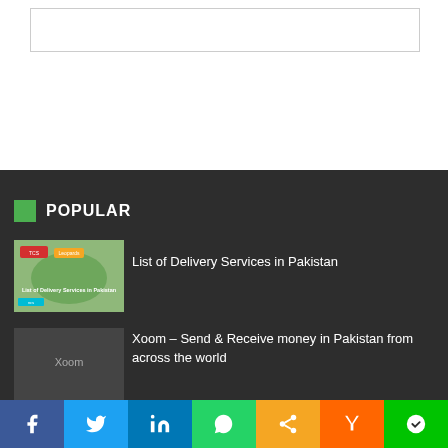[Figure (other): Search box / input field at top of page]
POPULAR
[Figure (photo): Thumbnail image for List of Delivery Services in Pakistan article]
List of Delivery Services in Pakistan
[Figure (photo): Thumbnail image for Xoom article]
Xoom – Send & Receive money in Pakistan from across the world
[Figure (photo): Thumbnail image for List of Fintech Companies article]
List of Fintech Companies in Pakistan
f  Twitter  in  WhatsApp  Share  Y  More